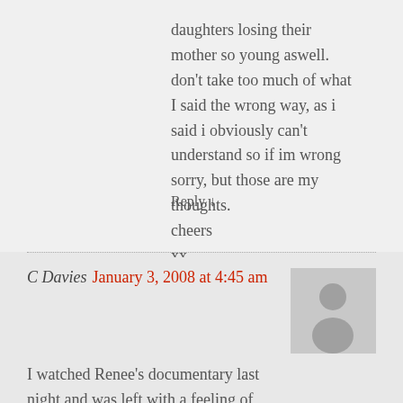daughters losing their mother so young aswell. don't take too much of what I said the wrong way, as i said i obviously can't understand so if im wrong sorry, but those are my thoughts.
cheers
xx
Reply ↓
C Davies January 3, 2008 at 4:45 am
[Figure (illustration): Generic user avatar placeholder - grey square with silhouette of a person]
I watched Renee's documentary last night and was left with a feeling of despair for our society.